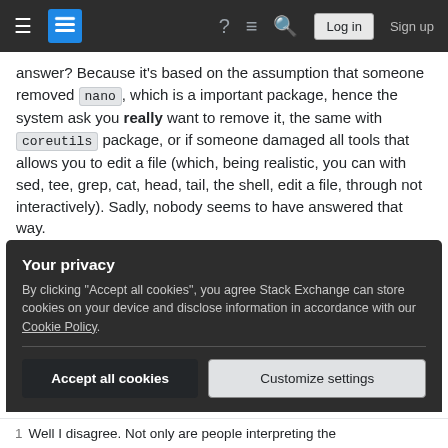Stack Exchange navigation bar with hamburger, logo, help, chat, search, Log in, Sign up
answer? Because it's based on the assumption that someone removed nano, which is a important package, hence the system ask you really want to remove it, the same with coreutils package, or if someone damaged all tools that allows you to edit a file (which, being realistic, you can with sed, tee, grep, cat, head, tail, the shell, edit a file, through not interactively). Sadly, nobody seems to have answered that way.
Share  Follow    edited Apr 13, 2017 at 12:25
Your privacy
By clicking "Accept all cookies", you agree Stack Exchange can store cookies on your device and disclose information in accordance with our Cookie Policy.
Accept all cookies    Customize settings
1  Well I disagree. Not only are people interpreting the